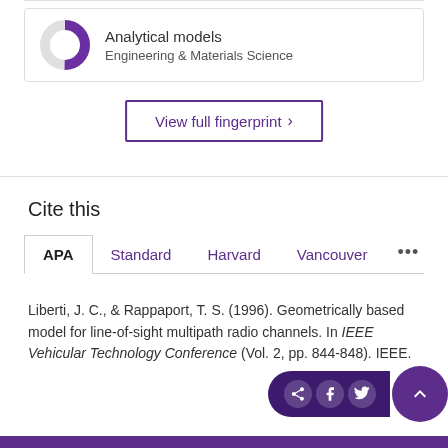[Figure (donut-chart): Partial donut/ring chart showing analytical models coverage, purple on grey, approximately 75% filled]
Analytical models
Engineering & Materials Science
View full fingerprint ›
Cite this
APA   Standard   Harvard   Vancouver   ...
Liberti, J. C., & Rappaport, T. S. (1996). Geometrically based model for line-of-sight multipath radio channels. In IEEE Vehicular Technology Conference (Vol. 2, pp. 844-848). IEEE.